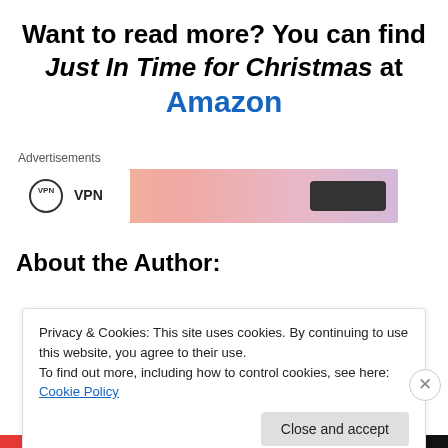Want to read more? You can find Just In Time for Christmas at Amazon
[Figure (infographic): Advertisement banner with VPN logo and orange/pink gradient background with a dark button on the right]
About the Author:
Privacy & Cookies: This site uses cookies. By continuing to use this website, you agree to their use.
To find out more, including how to control cookies, see here: Cookie Policy
Close and accept